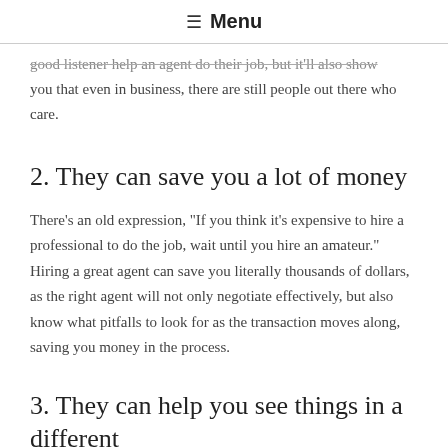≡ Menu
good listener help an agent do their job, but it'll also show you that even in business, there are still people out there who care.
2. They can save you a lot of money
There's an old expression, "If you think it's expensive to hire a professional to do the job, wait until you hire an amateur." Hiring a great agent can save you literally thousands of dollars, as the right agent will not only negotiate effectively, but also know what pitfalls to look for as the transaction moves along, saving you money in the process.
3. They can help you see things in a different